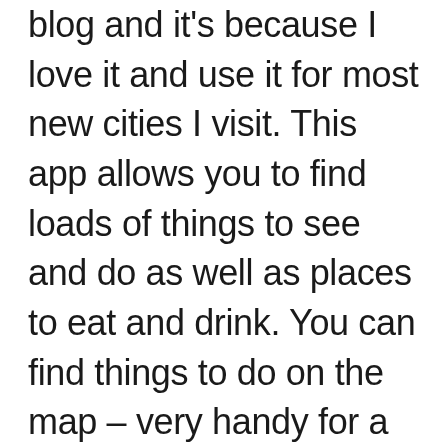blog and it's because I love it and use it for most new cities I visit. This app allows you to find loads of things to see and do as well as places to eat and drink. You can find things to do on the map – very handy for a big city like London so you can find things close by. The tips in this app are written by locals, so you'll find a lot of unusual activities that don't make it into guidebooks. It's perfect if this is your second visit to London and you've seen the major tourist attractions before – or even if you live in London and you're